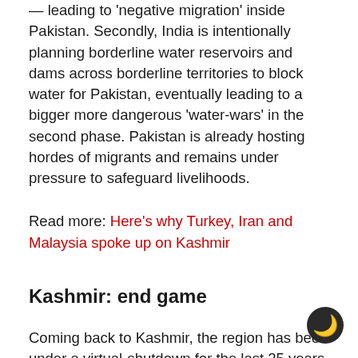— leading to 'negative migration' inside Pakistan. Secondly, India is intentionally planning borderline water reservoirs and dams across borderline territories to block water for Pakistan, eventually leading to a bigger more dangerous 'water-wars' in the second phase. Pakistan is already hosting hordes of migrants and remains under pressure to safeguard livelihoods.
Read more: Here's why Turkey, Iran and Malaysia spoke up on Kashmir
Kashmir: end game
Coming back to Kashmir, the region has been under a virtual-shutdown for the last 25 years, while few Muslim states have challenged this norm, while they openly talk about taking action in Kabul, Rangoon, Benghazi, Khartoum, Aleppo, Beirut or Karachi. Could it be a media blackout in Kashmir? Is the State responsible for the perpetual use of force? Is the UNSC